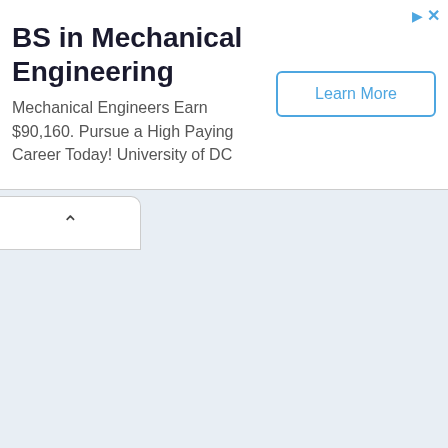BS in Mechanical Engineering
Mechanical Engineers Earn $90,160. Pursue a High Paying Career Today! University of DC
[Figure (other): Learn More button — a rectangular button with blue border and blue text reading 'Learn More']
[Figure (other): A tab/panel collapse control showing an upward-pointing caret (chevron up) on a white rounded tab at the top-left of the lower section]